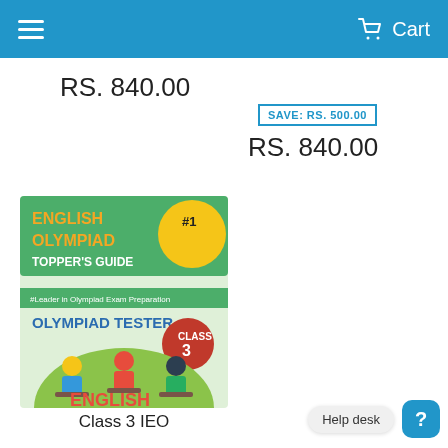Cart
RS. 840.00
SAVE: RS. 500.00
RS. 840.00
[Figure (photo): Book cover: English Olympiad Topper's Guide #1, Olympiad Tester, Class 3 English — illustrated cover showing three students at desks with green background]
Class 3 IEO
Help desk